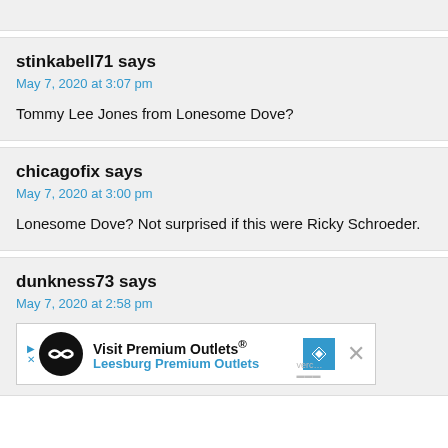stinkabell71 says
May 7, 2020 at 3:07 pm
Tommy Lee Jones from Lonesome Dove?
chicagofix says
May 7, 2020 at 3:00 pm
Lonesome Dove? Not surprised if this were Ricky Schroeder.
dunkness73 says
May 7, 2020 at 2:58 pm
[Figure (other): Advertisement banner: Visit Premium Outlets® Leesburg Premium Outlets with logo and navigation arrow icon]